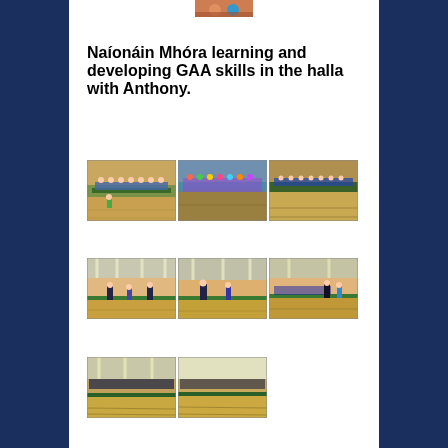[Figure (photo): Partial top photo showing children, cut off at top of page]
Naíonáin Mhóra learning and developing GAA skills in the halla with Anthony.
[Figure (photo): Three photos side by side showing children learning GAA skills in a sports hall, sitting in a line]
[Figure (photo): Three photos side by side showing children and instructor practicing GAA skills in a sports hall with orange/beige walls]
[Figure (photo): Two photos side by side showing children in a sports hall lined up along the wall]